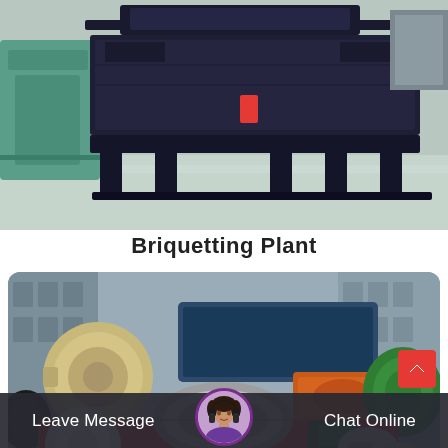[Figure (photo): Industrial briquetting plant machine in dark blue/black color, sitting on a factory floor with green machinery visible on the left and industrial equipment in background.]
Briquetting Plant
[Figure (photo): Outdoor industrial yard showing a red magnetic separator machine in the foreground, with various industrial rollers, drums, and equipment (beige, green, orange colored) in the background.]
Leave Message   Chat Online